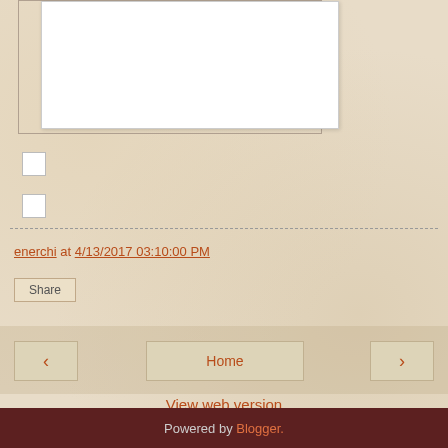[Figure (screenshot): White textarea input box with border, part of a blog comment form]
[Figure (other): Two small white checkbox UI elements]
enerchi at 4/13/2017 03:10:00 PM
Share
Home
View web version
Powered by Blogger.